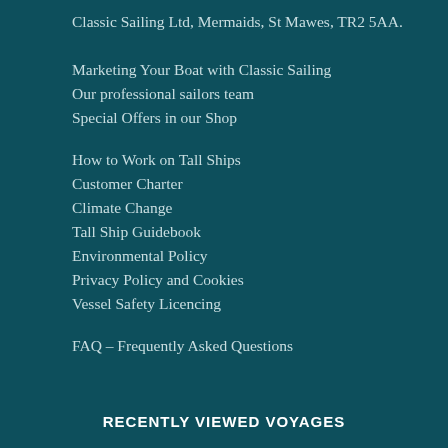Classic Sailing Ltd, Mermaids, St Mawes, TR2 5AA.
Marketing Your Boat with Classic Sailing
Our professional sailors team
Special Offers in our Shop
How to Work on Tall Ships
Customer Charter
Climate Change
Tall Ship Guidebook
Environmental Policy
Privacy Policy and Cookies
Vessel Safety Licencing
FAQ – Frequently Asked Questions
RECENTLY VIEWED VOYAGES